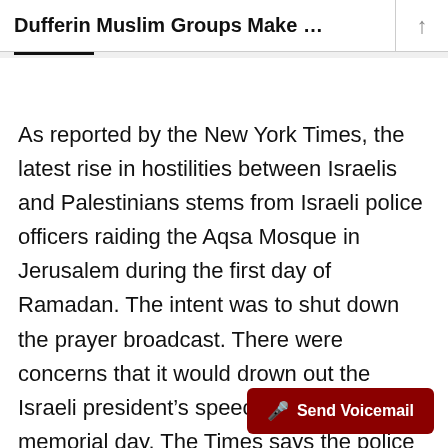Dufferin Muslim Groups Make …
As reported by the New York Times, the latest rise in hostilities between Israelis and Palestinians stems from Israeli police officers raiding the Aqsa Mosque in Jerusalem during the first day of Ramadan. The intent was to shut down the prayer broadcast. There were concerns that it would drown out the Israeli president's speech for the country's memorial day. The Times says the police declined to comment, but six mosque officials confirmed the details. Twenty-seven days la…